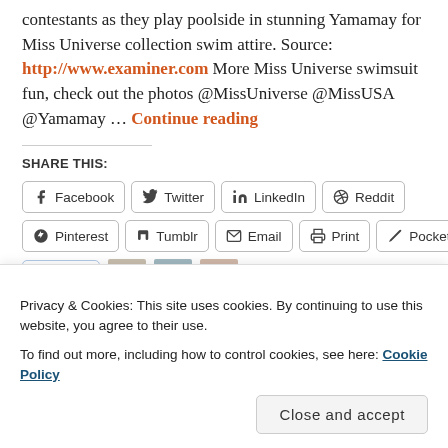contestants as they play poolside in stunning Yamamay for Miss Universe collection swim attire. Source: http://www.examiner.com More Miss Universe swimsuit fun, check out the photos @MissUniverse @MissUSA @Yamamay … Continue reading
SHARE THIS:
Facebook  Twitter  LinkedIn  Reddit  Pinterest  Tumblr  Email  Print  Pocket
Like
Privacy & Cookies: This site uses cookies. By continuing to use this website, you agree to their use.
To find out more, including how to control cookies, see here: Cookie Policy
Close and accept